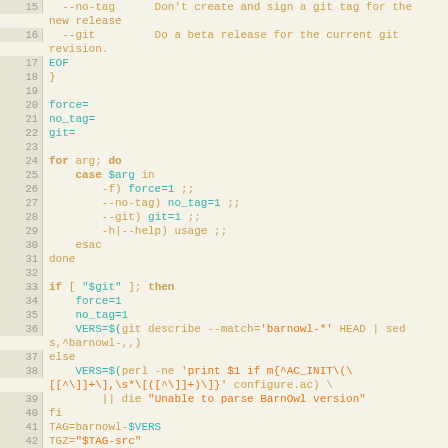[Figure (screenshot): Shell script source code with line numbers 15-43, showing argument parsing and version detection logic in a bash script.]